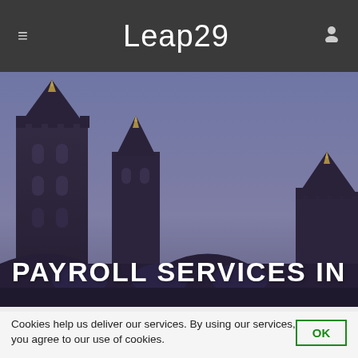≡  Leap29  👤
[Figure (photo): Gothic tower buildings with gold spires against a purple-blue sky, resembling Tower Bridge or Westminster, London. The image has a purple/dusky color tone.]
PAYROLL SERVICES IN
Cookies help us deliver our services. By using our services, you agree to our use of cookies.